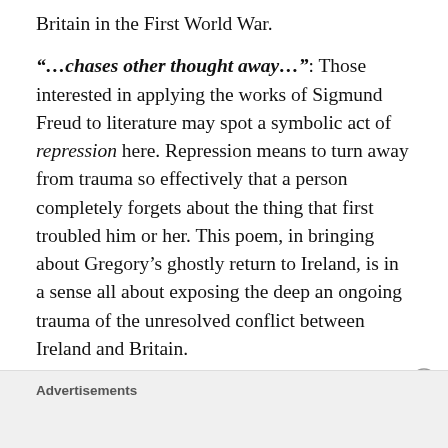Britain in the First World War.
“…chases other thought away…”: Those interested in applying the works of Sigmund Freud to literature may spot a symbolic act of repression here. Repression means to turn away from trauma so effectively that a person completely forgets about the thing that first troubled him or her. This poem, in bringing about Gregory’s ghostly return to Ireland, is in a sense all about exposing the deep an ongoing trauma of the unresolved conflict between Ireland and Britain.
Advertisements